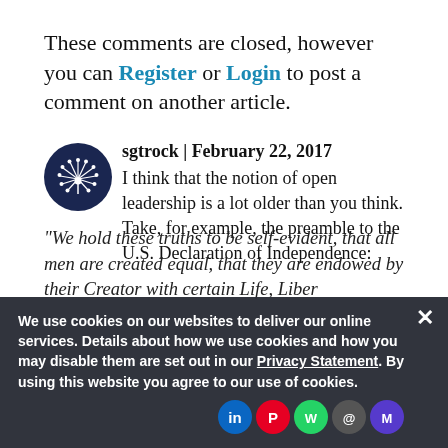These comments are closed, however you can Register or Login to post a comment on another article.
sgtrock | February 22, 2017
I think that the notion of open leadership is a lot older than you think. Take, for example, the preamble to the U.S. Declaration of Independence:
“We hold these truths to be self-evident, that all men are created equal, that they are endowed by their Creator with certain Life, Liber
We use cookies on our websites to deliver our online services. Details about how we use cookies and how you may disable them are set out in our Privacy Statement. By using this website you agree to our use of cookies.